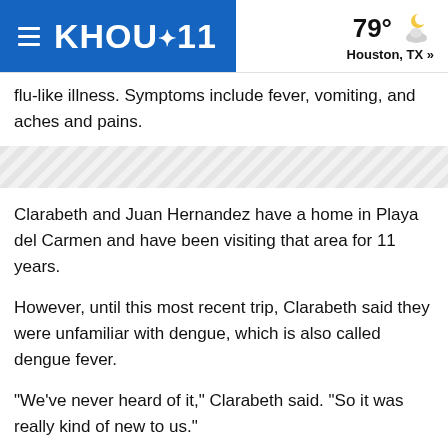KHOU 11 | 79° Houston, TX »
[Figure (other): Diagonal striped divider banner]
flu-like illness. Symptoms include fever, vomiting, and aches and pains.
Clarabeth and Juan Hernandez have a home in Playa del Carmen and have been visiting that area for 11 years.
However, until this most recent trip, Clarabeth said they were unfamiliar with dengue, which is also called dengue fever.
“We’ve never heard of it,” Clarabeth said. “So it was really kind of new to us.”
Clarabeth said they believe Juan was bit by a mosquito about a week ago.